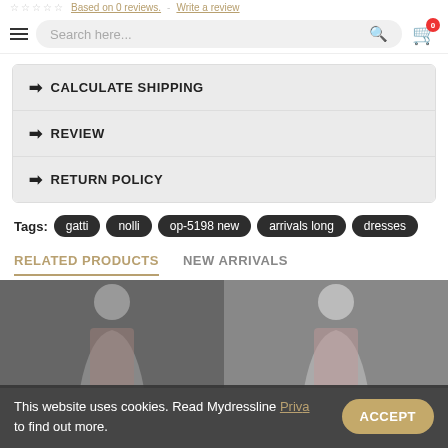Based on 0 reviews. Write a review
Search here...
→ CALCULATE SHIPPING
→ REVIEW
→ RETURN POLICY
Tags: gatti  nolli  op-5198 new  arrivals long  dresses
RELATED PRODUCTS   NEW ARRIVALS
[Figure (photo): Two product thumbnail images of women's dresses]
This website uses cookies. Read Mydressline Priva… to find out more.